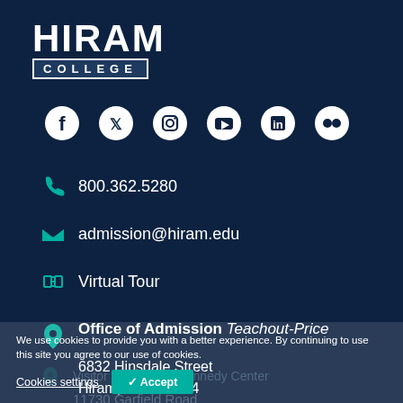[Figure (logo): Hiram College logo: large bold 'HIRAM' text above a bar with 'COLLEGE' in spaced capitals]
[Figure (infographic): Row of six social media icons: Facebook, Twitter, Instagram, YouTube, LinkedIn, Flickr — white circles on dark background]
800.362.5280
admission@hiram.edu
Virtual Tour
Office of Admission Teachout-Price
6832 Hinsdale Street
Hiram, Ohio 44234
We use cookies to provide you with a better experience. By continuing to use this site you agree to our use of cookies.
Cookies settings
✓ Accept